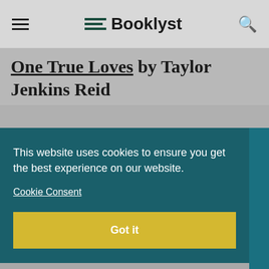Booklyst
One True Loves by Taylor Jenkins Reid
[Figure (illustration): Book cover of One True Loves by Taylor Jenkins Reid. Dark teal/green background with text 'WHAT DOES IT MEAN TO LOVE TRULY?' and 'TAYLOR' in large letters.]
This website uses cookies to ensure you get the best experience on our website.
Cookie Consent
Got it